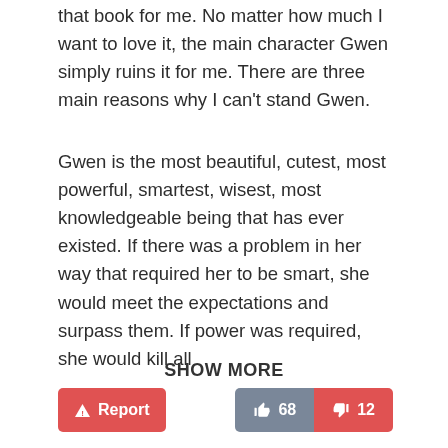that book for me. No matter how much I want to love it, the main character Gwen simply ruins it for me. There are three main reasons why I can't stand Gwen.
Gwen is the most beautiful, cutest, most powerful, smartest, wisest, most knowledgeable being that has ever existed. If there was a problem in her way that required her to be smart, she would meet the expectations and surpass them. If power was required, she would kill all
SHOW MORE
[Figure (other): Report button (red), thumbs-up 68 (grey), thumbs-down 12 (red)]
[Figure (illustration): User badge: owl avatar with shield/wings emblem and 'Onoo.me' text label]
Overall
[Figure (other): Star rating: approximately 2.5 out of 5 stars (red filled, outline empty)]